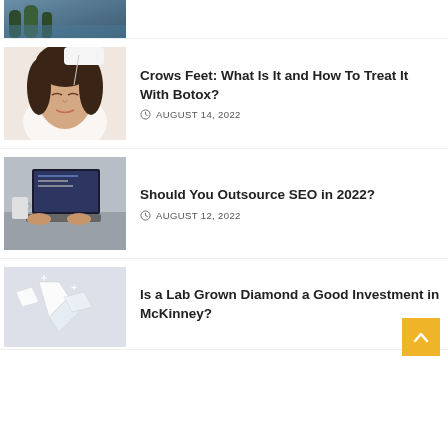[Figure (photo): Partial view of a person outdoors near water with trees in autumn]
[Figure (photo): Woman lying down receiving facial botox injection treatment]
Crows Feet: What Is It and How To Treat It With Botox?
AUGUST 14, 2022
[Figure (photo): Person typing on laptop computer with coffee mug nearby]
Should You Outsource SEO in 2022?
AUGUST 12, 2022
[Figure (photo): Lab grown diamonds sparkling on white surface]
Is a Lab Grown Diamond a Good Investment in McKinney?